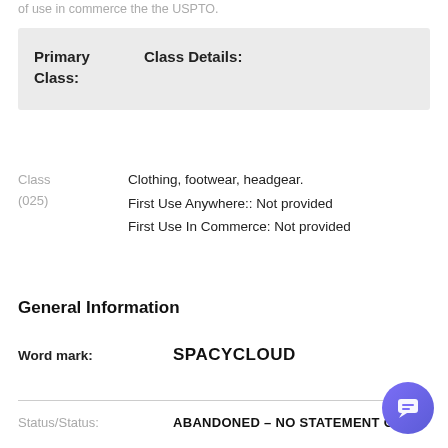of use in commerce the the USPTO.
| Primary Class: | Class Details: |
| --- | --- |
Class (025)
Clothing, footwear, headgear.
First Use Anywhere:: Not provided
First Use In Commerce: Not provided
General Information
| Word mark: | SPACYCLOUD |
| --- | --- |
Status/Status:	ABANDONED – NO STATEMENT OF